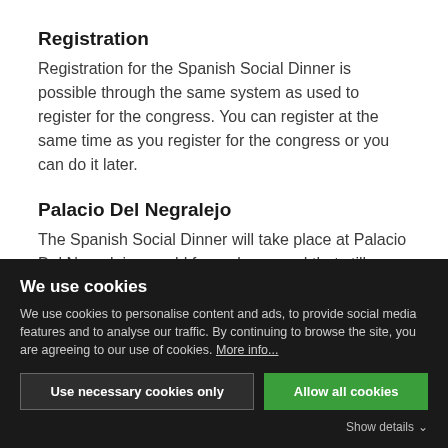Registration
Registration for the Spanish Social Dinner is possible through the same system as used to register for the congress. You can register at the same time as you register for the congress or you can do it later.
Palacio Del Negralejo
The Spanish Social Dinner will take place at Palacio Del Negralejo, an old farm playground that still retains the air of aristocratic, exclusive and rural while surprising everyone who visits it
We use cookies
We use cookies to personalise content and ads, to provide social media features and to analyse our traffic. By continuing to browse the site, you are agreeing to our use of cookies. More info...
Use necessary cookies only
Allow all cookies
Show details